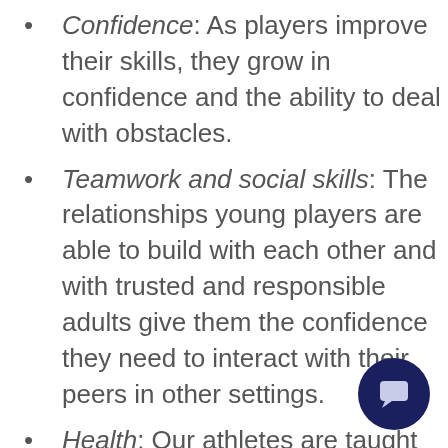Confidence: As players improve their skills, they grow in confidence and the ability to deal with obstacles.
Teamwork and social skills: The relationships young players are able to build with each other and with trusted and responsible adults give them the confidence they need to interact with their peers in other settings.
Health: Our athletes are taught good health practices and are able to experience the results of regular exercise health.